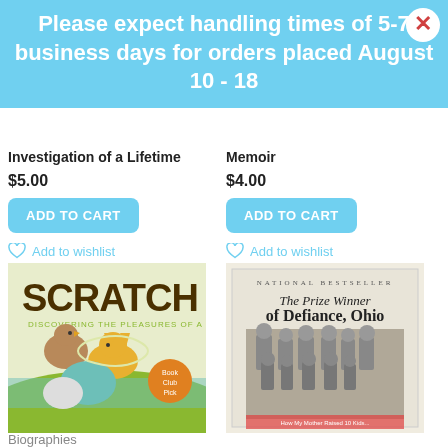Please expect handling times of 5-7 business days for orders placed August 10 - 18
Investigation of a Lifetime
$5.00
ADD TO CART
Memoir
$4.00
ADD TO CART
Add to wishlist
[Figure (photo): Book cover: Scratch - Discovering the Pleasures of a Handmade Life, with illustrated animals on a green and cream background]
Add to wishlist
[Figure (photo): Book cover: The Prize Winner of Defiance, Ohio - National Bestseller, with black and white photo of a large family]
Biographies